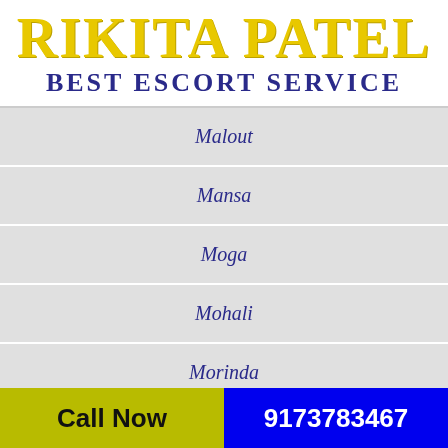RIKITA PATEL
BEST ESCORT SERVICE
Malout
Mansa
Moga
Mohali
Morinda
Mukerian
Call Now   9173783467